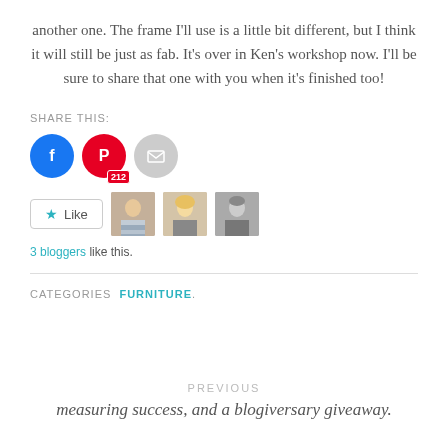another one.  The frame I'll use is a little bit different, but I think it will still be just as fab.  It's over in Ken's workshop now.  I'll be sure to share that one with you when it's finished too!
SHARE THIS:
[Figure (other): Social sharing icons: Facebook (blue circle), Pinterest (red circle with 212 badge), Email (gray circle with envelope)]
[Figure (other): Like button with star icon and three blogger avatar thumbnails]
3 bloggers like this.
CATEGORIES FURNITURE.
PREVIOUS
measuring success, and a blogiversary giveaway.